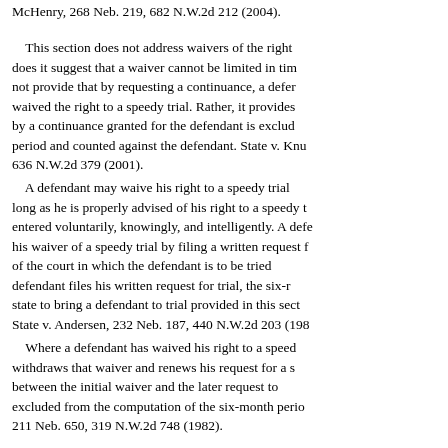McHenry, 268 Neb. 219, 682 N.W.2d 212 (2004).
This section does not address waivers of the right does it suggest that a waiver cannot be limited in tim not provide that by requesting a continuance, a defer waived the right to a speedy trial. Rather, it provides by a continuance granted for the defendant is exclud period and counted against the defendant. State v. Knu 636 N.W.2d 379 (2001).
A defendant may waive his right to a speedy trial long as he is properly advised of his right to a speedy t entered voluntarily, knowingly, and intelligently. A defe his waiver of a speedy trial by filing a written request f of the court in which the defendant is to be tried defendant files his written request for trial, the six-r state to bring a defendant to trial provided in this sect State v. Andersen, 232 Neb. 187, 440 N.W.2d 203 (198
Where a defendant has waived his right to a speed withdraws that waiver and renews his request for a s between the initial waiver and the later request to excluded from the computation of the six-month perio 211 Neb. 650, 319 N.W.2d 748 (1982).